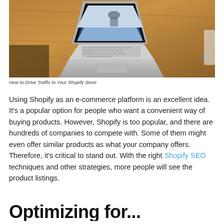[Figure (photo): Laptop computer with a screen showing an image, placed on a wooden desk, viewed from above at an angle.]
How to Drive Traffic to Your Shopify Store
Using Shopify as an e-commerce platform is an excellent idea. It's a popular option for people who want a convenient way of buying products. However, Shopify is too popular, and there are hundreds of companies to compete with. Some of them might even offer similar products as what your company offers. Therefore, it's critical to stand out. With the right Shopify SEO techniques and other strategies, more people will see the product listings.
Optimizing for...